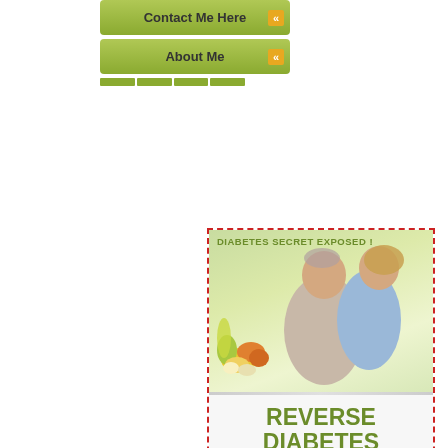[Figure (other): Navigation button: Contact Me Here with orange arrow]
[Figure (other): Navigation button: About Me with orange arrow]
[Figure (illustration): Advertisement box with dashed red border. Contains header text 'DIABETES SECRET EXPOSED !', image of smiling couple with vegetables, text 'REVERSE DIABETES in 30 days.', and a 'LEARN HOW >' call-to-action button.]